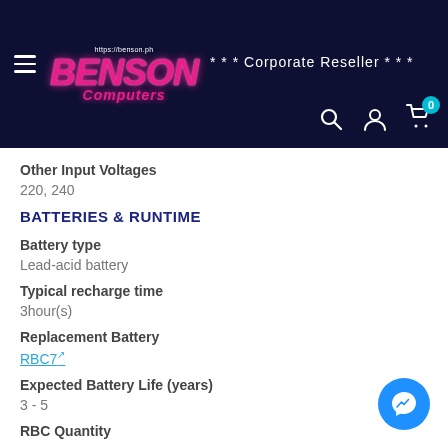https://benson.ph BENSON Computers *** Corporate Reseller ***
Other Input Voltages
220, 240
BATTERIES & RUNTIME
Battery type
Lead-acid battery
Typical recharge time
3hour(s)
Replacement Battery
RBC7
Expected Battery Life (years)
3 - 5
RBC Quantity